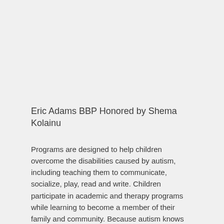Eric Adams BBP Honored by Shema Kolainu
Programs are designed to help children overcome the disabilities caused by autism, including teaching them to communicate, socialize, play, read and write. Children participate in academic and therapy programs while learning to become a member of their family and community. Because autism knows no national or cultural boundaries, Shema Kolainu shares its pioneering programs and research with